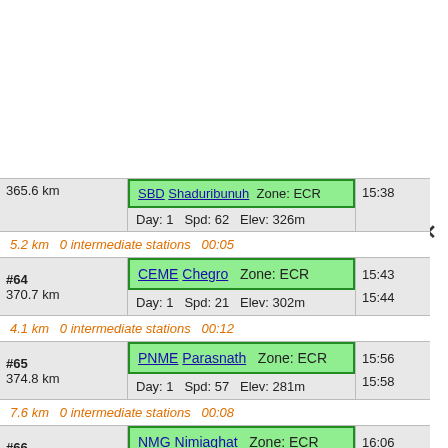| # | Station | Time |
| --- | --- | --- |
| 365.6 km | SBD Shaduribunuh  Zone: ECR / Day: 1  Spd: 62  Elev: 326m | 15:38 |
| 5.2 km  0 intermediate stations  00:05 |  |  |
| #64
370.7 km | CEME Chegro  Zone: ECR / Day: 1  Spd: 21  Elev: 302m | 15:43
15:44 |
| 4.1 km  0 intermediate stations  00:12 |  |  |
| #65
374.8 km | PNME Parasnath  Zone: ECR / Day: 1  Spd: 57  Elev: 281m | 15:56
15:58 |
| 7.6 km  0 intermediate stations  00:08 |  |  |
| #66
382.5 km | NMG Nimiaghat  Zone: ECR / Day: 1  Spd: 67  Elev: 268m | 16:06
16:07 |